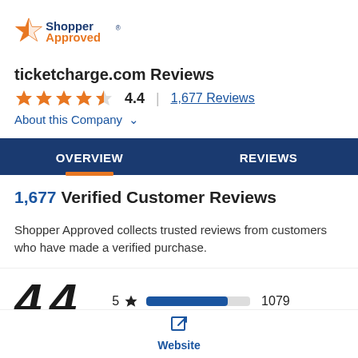[Figure (logo): ShopperApproved logo with orange star and blue text]
ticketcharge.com Reviews
★★★★☆ 4.4 | 1,677 Reviews
About this Company ∨
OVERVIEW | REVIEWS
1,677 Verified Customer Reviews
Shopper Approved collects trusted reviews from customers who have made a verified purchase.
5 ★ 1079
Website